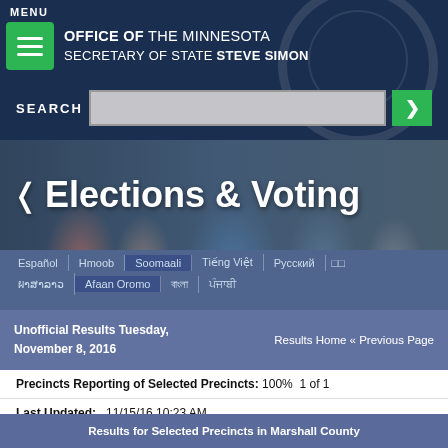MENU | OFFICE OF THE MINNESOTA SECRETARY OF STATE STEVE SIMON
Elections & Voting
Español | Hmoob | Soomaali | Tiếng Việt | Русский | ລາວ | Afaan Oromo | অসমীয়া | ਪੰਜਾਬੀ
Unofficial Results Tuesday, November 8, 2016 | Results Home « Previous Page
Precincts Reporting of Selected Precincts: 100% 1 of 1
Last Updated: 11/15/16 10:23 AM
Voters Registered at 7AM: 40
Results for Selected Precincts in Marshall County